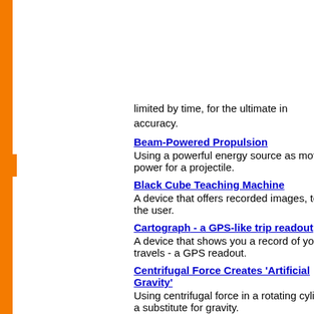limited by time, for the ultimate in accuracy.
Beam-Powered Propulsion - Using a powerful energy source as motive power for a projectile. [The ...]
Black Cube Teaching Machine - A device that offers recorded images, teaching the user. [The ...]
Cartograph - a GPS-like trip readout - A device that shows you a record of your travels - a GPS readout. [The ...]
Centrifugal Force Creates 'Artificial Gravity' - Using centrifugal force in a rotating cylinder as a substitute for gravity. [The ...]
Chardion Field - Electronic 'envelope' that retained atmosphere on tiny worldlets. [Star ...]
Chart Cabinet - Used in astrogation, this device can see the positions of stars and planets over a thousand year period. [One ...]
Chronoscope - A device used to see into specific internals of time. [Legi...]
City of Space - rotating habitat - A very early reference to an [The ...]